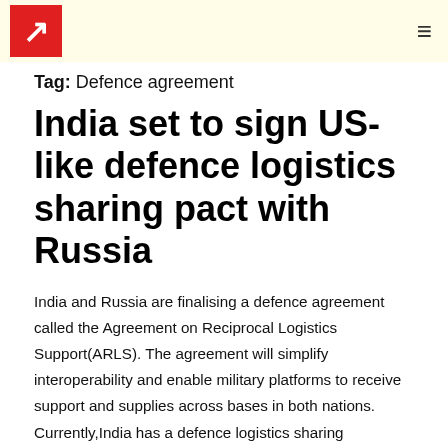Logo and navigation header
Tag: Defence agreement
India set to sign US-like defence logistics sharing pact with Russia
India and Russia are finalising a defence agreement called the Agreement on Reciprocal Logistics Support(ARLS). The agreement will simplify interoperability and enable military platforms to receive support and supplies across bases in both nations. Currently,India has a defence logistics sharing agreement with the US.A similar agreement was also inked with France in 2018. Further,if the…
Continue reading